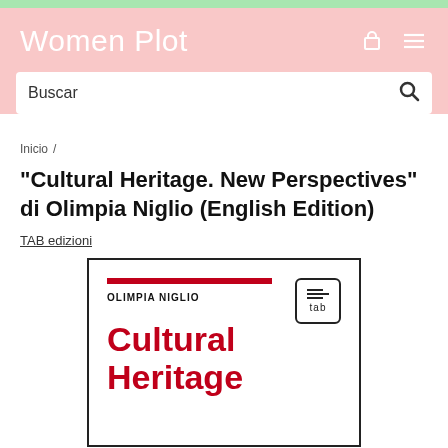Women Plot
Buscar
Inicio /
"Cultural Heritage. New Perspectives" di Olimpia Niglio (English Edition)
TAB edizioni
[Figure (photo): Book cover of 'Cultural Heritage. New Perspectives' by Olimpia Niglio, published by TAB edizioni. White cover with a red horizontal line, author name in black, TAB logo in top right, and red bold title text 'Cultural Heritage' at the bottom.]